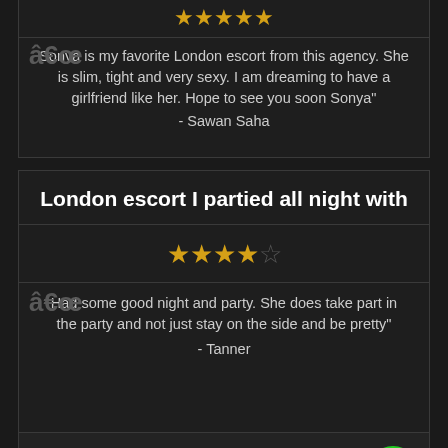[Figure (other): 5 filled gold stars rating row at top of page]
â€œ Sonya is my favorite London escort from this agency. She is slim, tight and very sexy. I am dreaming to have a girlfriend like her. Hope to see you soon Sonya" - Sawan Saha
London escort I partied all night with
[Figure (other): 4 filled gold stars and 1 empty star rating (4 out of 5)]
â€œ Had some good night and party. She does take part in the party and not just stay on the side and be pretty" - Tanner
ABOUT ME